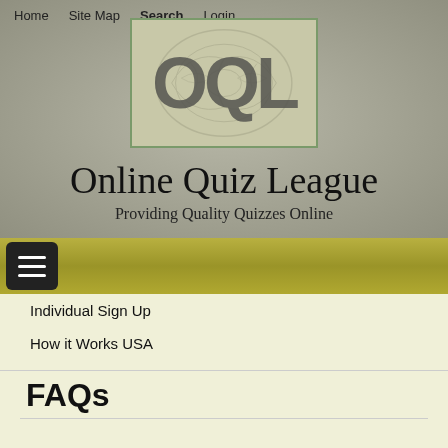Home  Site Map  Search  Login
[Figure (logo): OQL logo with brain graphic background in a green-bordered box]
Online Quiz League
Providing Quality Quizzes Online
Individual Sign Up
How it Works USA
FAQs
FAQs